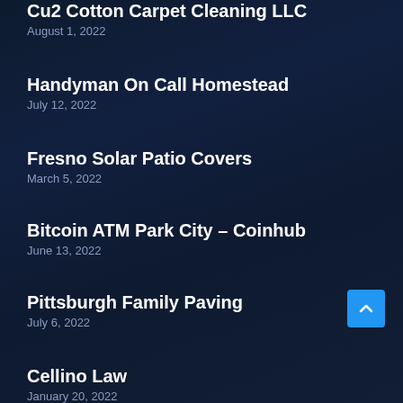Cu2 Cotton Carpet Cleaning LLC
August 1, 2022
Handyman On Call Homestead
July 12, 2022
Fresno Solar Patio Covers
March 5, 2022
Bitcoin ATM Park City – Coinhub
June 13, 2022
Pittsburgh Family Paving
July 6, 2022
Cellino Law
January 20, 2022